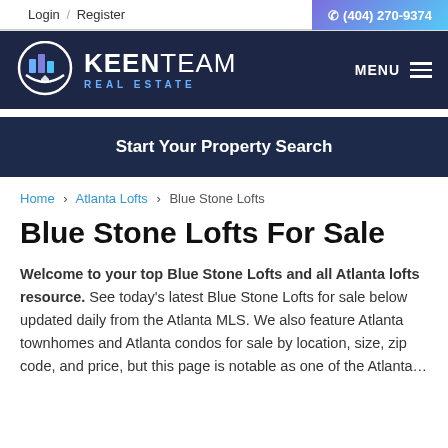Login / Register   (404) 270-9374
[Figure (logo): Keen Team Real Estate logo with circular icon showing bar chart buildings and KEENTEAM REAL ESTATE text]
MENU
Start Your Property Search
Home > Atlanta Lofts > Blue Stone Lofts
Blue Stone Lofts For Sale
Welcome to your top Blue Stone Lofts and all Atlanta lofts resource. See today's latest Blue Stone Lofts for sale below updated daily from the Atlanta MLS. We also feature Atlanta townhomes and Atlanta condos for sale by location, size, zip code, and price, but this page is notable as one of the Atlanta...